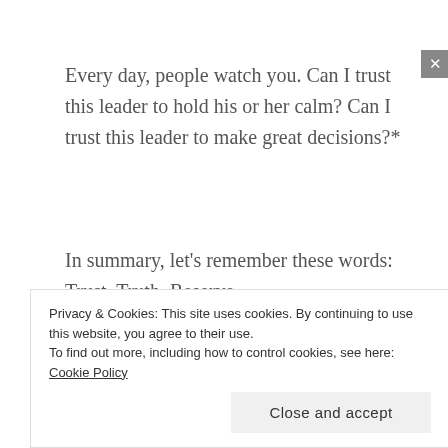Every day, people watch you. Can I trust this leader to hold his or her calm? Can I trust this leader to make great decisions?*
In summary, let's remember these words: Trust, Truth, Reserve.
Essential Truths
· You can lose all trust in one moment.
Privacy & Cookies: This site uses cookies. By continuing to use this website, you agree to their use. To find out more, including how to control cookies, see here: Cookie Policy
Close and accept